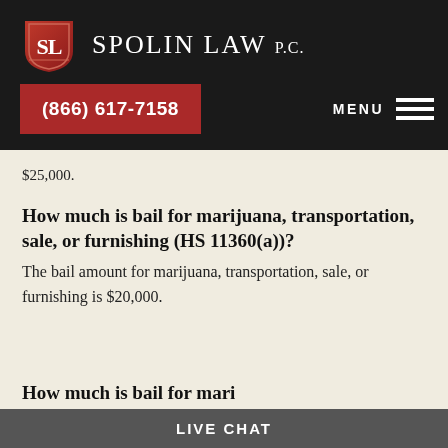Spolin Law P.C. | (866) 617-7158 | MENU
$25,000.
How much is bail for marijuana, transportation, sale, or furnishing (HS 11360(a))?
The bail amount for marijuana, transportation, sale, or furnishing is $20,000.
LIVE CHAT